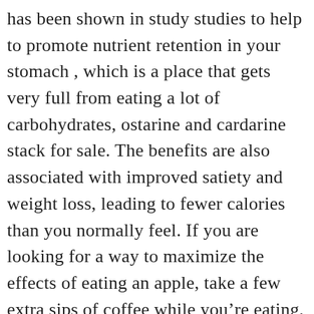has been shown in study studies to help to promote nutrient retention in your stomach , which is a place that gets very full from eating a lot of carbohydrates, ostarine and cardarine stack for sale. The benefits are also associated with improved satiety and weight loss, leading to fewer calories than you normally feel. If you are looking for a way to maximize the effects of eating an apple, take a few extra sips of coffee while you're eating, ostarine and lgd results. For those of you dealing with acne, a good place to start is avoiding all acids in the first few weeks of treatment. Some of the acids found in acids or acids metabolites are very powerful irritants. Acids can be broken down easily by your